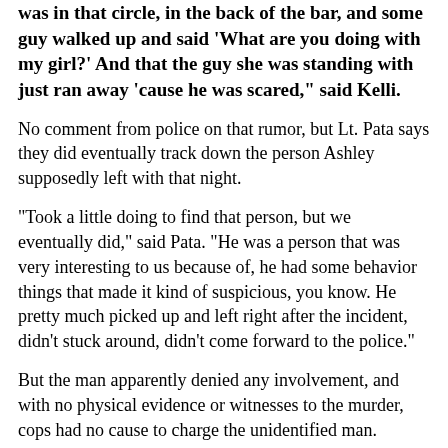was in that circle, in the back of the bar, and some guy walked up and said 'What are you doing with my girl?' And that the guy she was standing with just ran away 'cause he was scared," said Kelli.
No comment from police on that rumor, but Lt. Pata says they did eventually track down the person Ashley supposedly left with that night.
"Took a little doing to find that person, but we eventually did," said Pata. "He was a person that was very interesting to us because of, he had some behavior things that made it kind of suspicious, you know. He pretty much picked up and left right after the incident, didn't stuck around, didn't come forward to the police."
But the man apparently denied any involvement, and with no physical evidence or witnesses to the murder, cops had no cause to charge the unidentified man.
He wasn't the only person police wanted to talk to. There